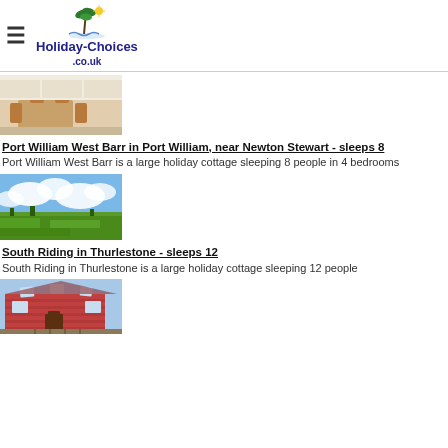Holiday-Choices .co.uk
[Figure (photo): Interior photo of a holiday cottage kitchen/dining room with wooden table and chairs]
Port William West Barr in Port William, near Newton Stewart - sleeps 8
Port William West Barr is a large holiday cottage sleeping 8 people in 4 bedrooms
[Figure (photo): Landscape photo showing green fields and cloudy blue sky]
South Riding in Thurlestone - sleeps 12
South Riding in Thurlestone is a large holiday cottage sleeping 12 people
[Figure (photo): Exterior photo of a red brick house/cottage with skylight windows]